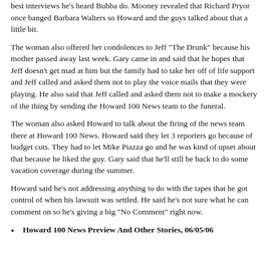best interviews he's heard Bubba do. Mooney revealed that Richard Pryor once banged Barbara Walters so Howard and the guys talked about that a little bit.
The woman also offered her condolences to Jeff "The Drunk" because his mother passed away last week. Gary came in and said that he hopes that Jeff doesn't get mad at him but the family had to take her off of life support and Jeff called and asked them not to play the voice mails that they were playing. He also said that Jeff called and asked them not to make a mockery of the thing by sending the Howard 100 News team to the funeral.
The woman also asked Howard to talk about the firing of the news team there at Howard 100 News. Howard said they let 3 reporters go because of budget cuts. They had to let Mike Piazza go and he was kind of upset about that because he liked the guy. Gary said that he'll still be back to do some vacation coverage during the summer.
Howard said he's not addressing anything to do with the tapes that he got control of when his lawsuit was settled. He said he's not sure what he can comment on so he's giving a big "No Comment" right now.
Howard 100 News Preview And Other Stories, 06/05/06